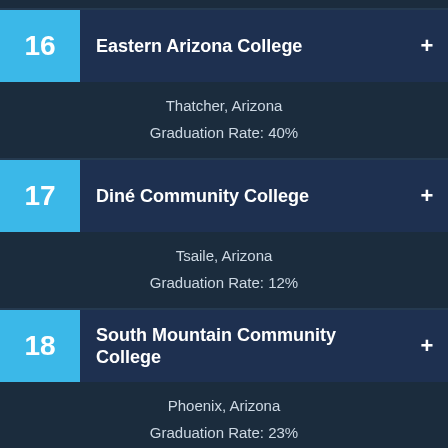16 Eastern Arizona College — Thatcher, Arizona — Graduation Rate: 40%
17 Diné Community College — Tsaile, Arizona — Graduation Rate: 12%
18 South Mountain Community College — Phoenix, Arizona — Graduation Rate: 23%
19 Rio Salado College